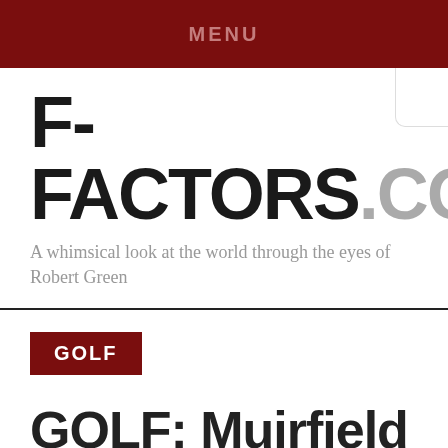MENU
F-FACTORS.COM
A whimsical look at the world through the eyes of Robert Green
GOLF
GOLF: Muirfield